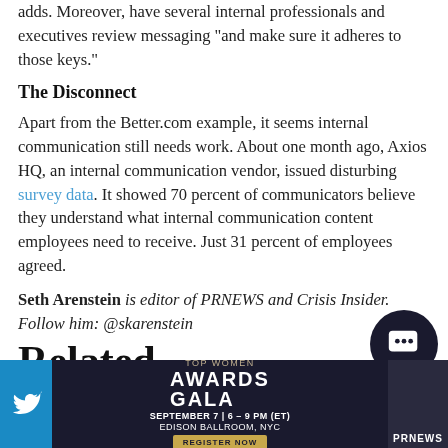adds. Moreover, have several internal professionals and executives review messaging "and make sure it adheres to those keys."
The Disconnect
Apart from the Better.com example, it seems internal communication still needs work. About one month ago, Axios HQ, an internal communication vendor, issued disturbing survey data. It showed 70 percent of communicators believe they understand what internal communication content employees need to receive. Just 31 percent of employees agreed.
Seth Arenstein is editor of PRNEWS and Crisis Insider. Follow him: @skarenstein
Related
[Figure (screenshot): Bottom advertisement banner for Top Women Awards Gala, September 7, 6-9 PM ET, Edison Ballroom NYC, with Twitter icon and PRNEWS branding on blue/dark background]